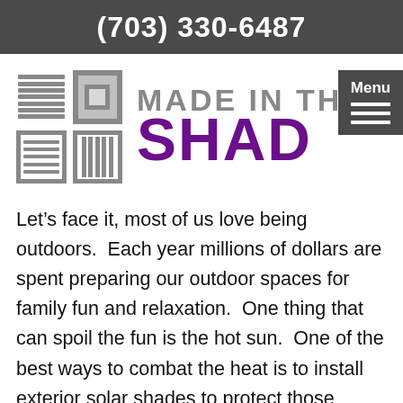(703) 330-6487
[Figure (logo): Made in the Shade logo with window blind icons and purple/gray text, plus a Menu button]
Let’s face it, most of us love being outdoors.  Each year millions of dollars are spent preparing our outdoor spaces for family fun and relaxation.  One thing that can spoil the fun is the hot sun.  One of the best ways to combat the heat is to install exterior solar shades to protect those cherished outdoor spaces.  Exterior solar shades are ideal for decks, patios, and porches.  The shade they cast significantly reduces heat, while allowing us to continue enjoying our favorite view due to their inherent opacity.  You might consider them sunglasses for your outdoor space.